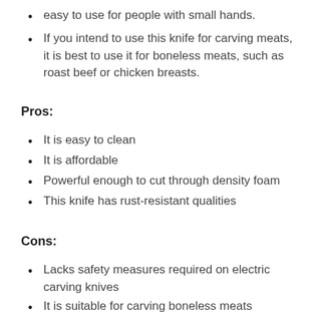easy to use for people with small hands.
If you intend to use this knife for carving meats, it is best to use it for boneless meats, such as roast beef or chicken breasts.
Pros:
It is easy to clean
It is affordable
Powerful enough to cut through density foam
This knife has rust-resistant qualities
Cons:
Lacks safety measures required on electric carving knives
It is suitable for carving boneless meats